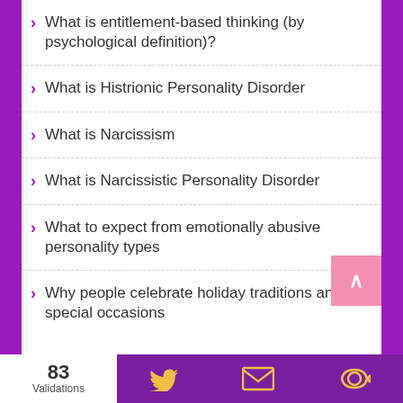What is entitlement-based thinking (by psychological definition)?
What is Histrionic Personality Disorder
What is Narcissism
What is Narcissistic Personality Disorder
What to expect from emotionally abusive personality types
Why people celebrate holiday traditions and special occasions
83 Validations